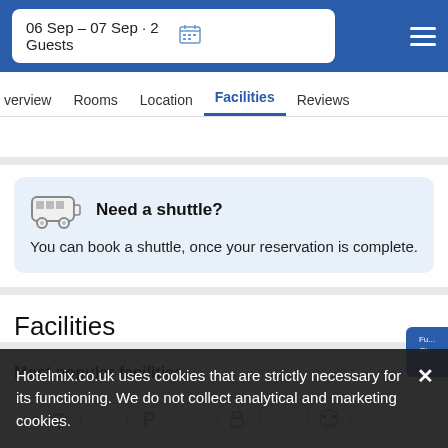06 Sep – 07 Sep · 2 Guests
verview  Rooms  Location  Facilities  Reviews
Need a shuttle? You can book a shuttle, once your reservation is complete.
Facilities
Most popular facilities
Hotelmix.co.uk uses cookies that are strictly necessary for its functioning. We do not collect analytical and marketing cookies.